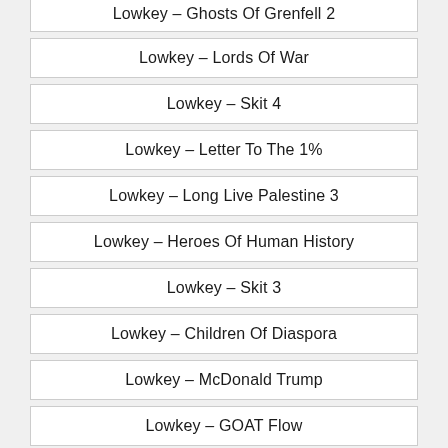Lowkey – Ghosts Of Grenfell 2
Lowkey – Lords Of War
Lowkey – Skit 4
Lowkey – Letter To The 1%
Lowkey – Long Live Palestine 3
Lowkey – Heroes Of Human History
Lowkey – Skit 3
Lowkey – Children Of Diaspora
Lowkey – McDonald Trump
Lowkey – GOAT Flow
Lowkey – Islamophobic Lullabies